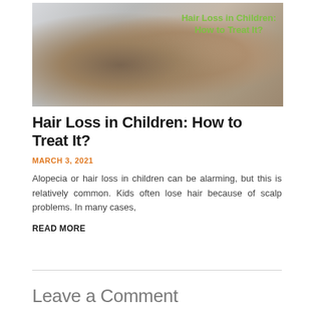[Figure (photo): A child with a braid hairstyle being arranged by adult hands with pink nails, viewed from behind. Green text overlay reads 'Hair Loss in Children: How to Treat It?']
Hair Loss in Children: How to Treat It?
MARCH 3, 2021
Alopecia or hair loss in children can be alarming, but this is relatively common. Kids often lose hair because of scalp problems. In many cases,
READ MORE
Leave a Comment